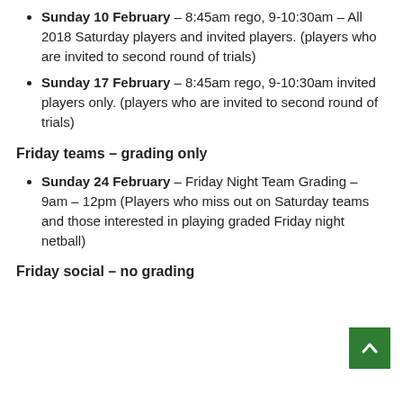Sunday 10 February – 8:45am rego, 9-10:30am – All 2018 Saturday players and invited players. (players who are invited to second round of trials)
Sunday 17 February – 8:45am rego, 9-10:30am invited players only. (players who are invited to second round of trials)
Friday teams – grading only
Sunday 24 February – Friday Night Team Grading – 9am – 12pm (Players who miss out on Saturday teams and those interested in playing graded Friday night netball)
Friday social – no grading